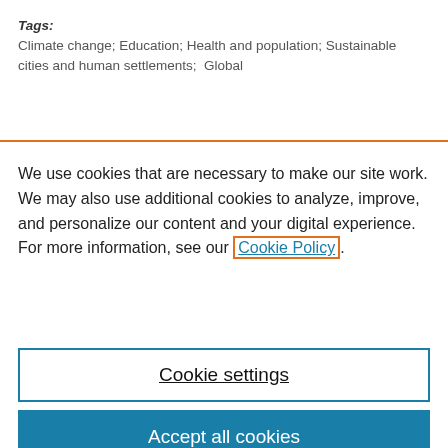Tags: Climate change; Education; Health and population; Sustainable cities and human settlements;  Global
We use cookies that are necessary to make our site work. We may also use additional cookies to analyze, improve, and personalize our content and your digital experience. For more information, see our Cookie Policy.
Cookie settings
Accept all cookies